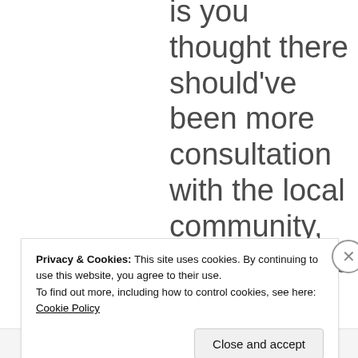is you thought there should've been more consultation with the local community, which I agree with, but you never actually
Privacy & Cookies: This site uses cookies. By continuing to use this website, you agree to their use.
To find out more, including how to control cookies, see here: Cookie Policy
Close and accept